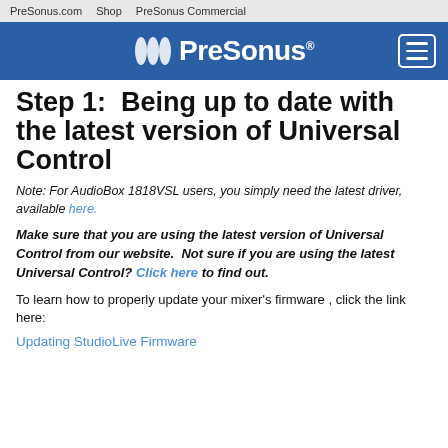PreSonus.com   Shop   PreSonus Commercial
[Figure (logo): PreSonus logo on blue background with hamburger menu icon]
Step 1:  Being up to date with the latest version of Universal Control
Note: For AudioBox 1818VSL users, you simply need the latest driver, available here.
Make sure that you are using the latest version of Universal Control from our website.  Not sure if you are using the latest Universal Control?  Click here to find out.
To learn how to properly update your mixer's firmware , click the link here:
Updating StudioLive Firmware